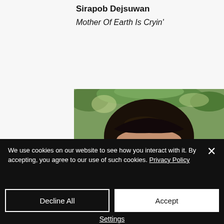Sirapob Dejsuwan
Mother Of Earth Is Cryin'
[Figure (photo): Photo of a person with dark bowl-cut hair seen from behind/above, with green foliage in background]
We use cookies on our website to see how you interact with it. By accepting, you agree to our use of such cookies. Privacy Policy
Decline All
Accept
Settings